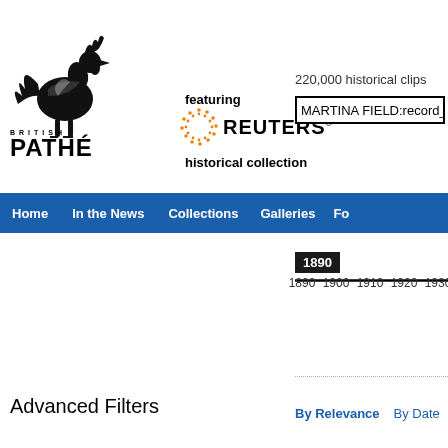[Figure (logo): British Pathé logo with rooster illustration, 'BRITISH PATHÉ' text]
featuring
[Figure (logo): Reuters logo with orange dotted circle and REUTERS text]
historical collection
220,000 historical clips
MARTINA FIELD:record_
Home  In the News  Collections  Galleries  Fo...
1890
1890  1900  1910  1920  1930
Advanced Filters
By Relevance    By Date